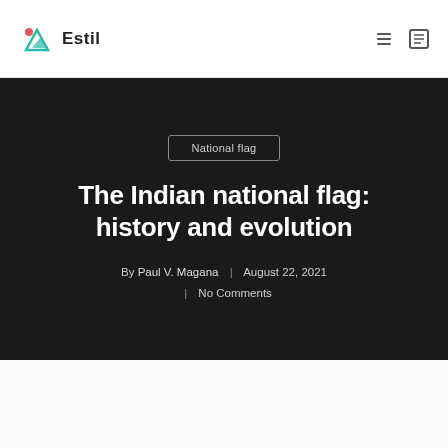Estil
National flag
The Indian national flag: history and evolution
By Paul V. Magana | August 22, 2021 | No Comments